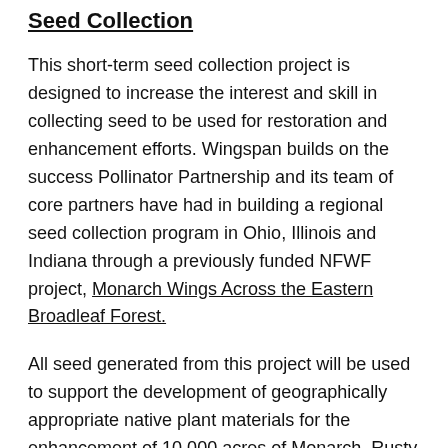Seed Collection
This short-term seed collection project is designed to increase the interest and skill in collecting seed to be used for restoration and enhancement efforts. Wingspan builds on the success Pollinator Partnership and its team of core partners have had in building a regional seed collection program in Ohio, Illinois and Indiana through a previously funded NFWF project, Monarch Wings Across the Eastern Broadleaf Forest.
All seed generated from this project will be used to support the development of geographically appropriate native plant materials for the enhancement of 10,000 acres of Monarch, Rusty Patched Bumble Bee and other imperiled pollinator habitat.